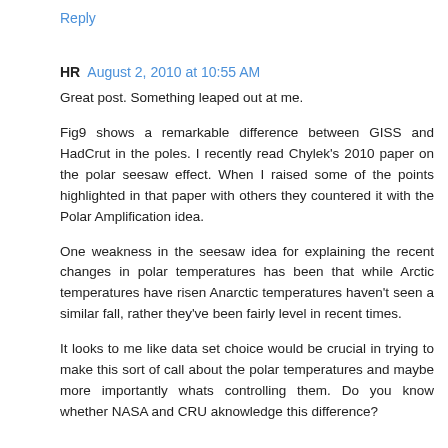Reply
HR  August 2, 2010 at 10:55 AM
Great post. Something leaped out at me.
Fig9 shows a remarkable difference between GISS and HadCrut in the poles. I recently read Chylek's 2010 paper on the polar seesaw effect. When I raised some of the points highlighted in that paper with others they countered it with the Polar Amplification idea.
One weakness in the seesaw idea for explaining the recent changes in polar temperatures has been that while Arctic temperatures have risen Anarctic temperatures haven't seen a similar fall, rather they've been fairly level in recent times.
It looks to me like data set choice would be crucial in trying to make this sort of call about the polar temperatures and maybe more importantly whats controlling them. Do you know whether NASA and CRU aknowledge this difference?